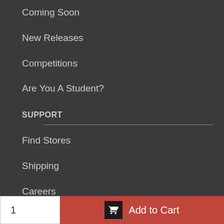Coming Soon
New Releases
Competitions
Are You A Student?
SUPPORT
Find Stores
Shipping
Careers
Help
Blog
Contact Us
FOLLOW US
1
Add to Cart